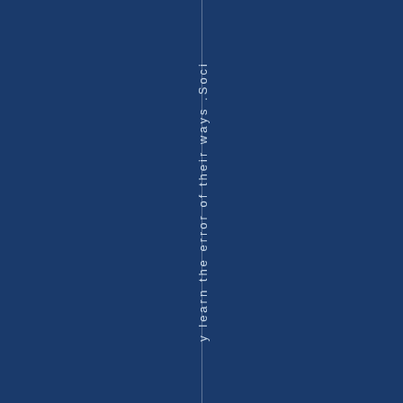y learn the error of their ways . Soci